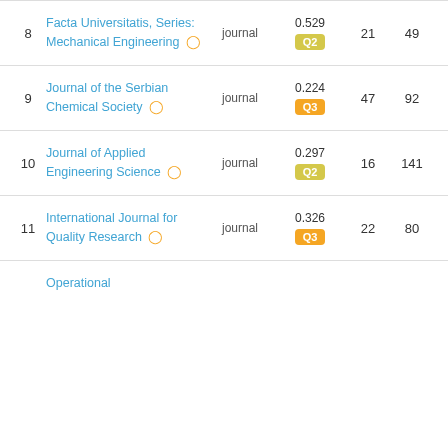| # | Title | Type | Score/Quartile | H-index | Docs |
| --- | --- | --- | --- | --- | --- |
| 8 | Facta Universitatis, Series: Mechanical Engineering 🔓 | journal | 0.529 Q2 | 21 | 49 |
| 9 | Journal of the Serbian Chemical Society 🔓 | journal | 0.224 Q3 | 47 | 92 |
| 10 | Journal of Applied Engineering Science 🔓 | journal | 0.297 Q2 | 16 | 141 |
| 11 | International Journal for Quality Research 🔓 | journal | 0.326 Q3 | 22 | 80 |
| 12 | Operational ... |  |  |  |  |